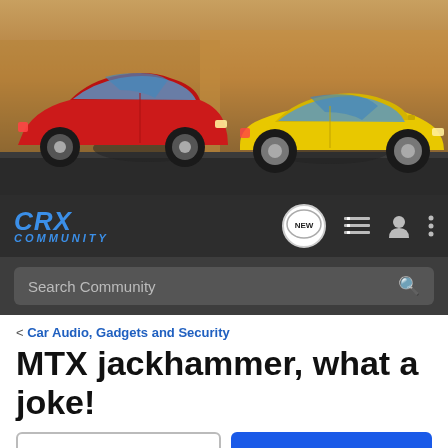[Figure (photo): Banner image showing two Honda CRX cars – a red one on the left and a yellow one on the right – against a dark urban background]
CRX Community navigation bar with logo, NEW button, list icon, user icon, and more options icon
Search Community
< Car Audio, Gadgets and Security
MTX jackhammer, what a joke!
→ Jump to Latest
+ Follow
1 - 15 of 15 Posts
Stavros · Registered
Joined May 3, 2005 · 247 Posts